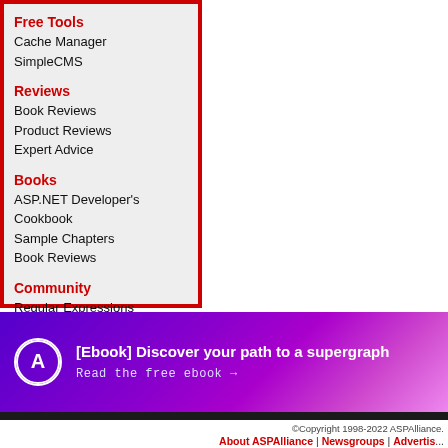Free Tools
Cache Manager
SimpleCMS
Reviews
Book Reviews
Product Reviews
Expert Advice
Books
ASP.NET Developer's Cookbook
Sample Chapters
Book Reviews
Community
Regular Expressions
[Figure (infographic): Advertisement banner with purple gradient background, Apollo/Hasura logo circle, bold white text '[Ebook] Discover your path to a supergraph', and monospace link 'Read the free ebook →']
©Copyright 1998-2022 ASPAlliance. About ASPAlliance | Newsgroups | Advertis...